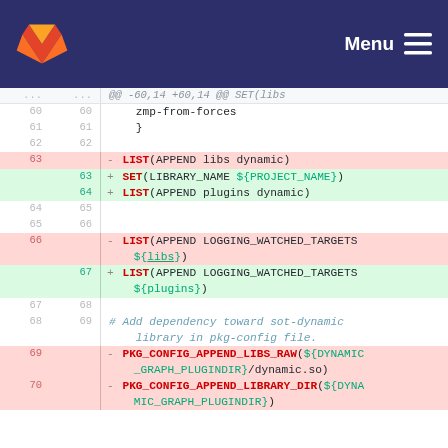GitLab Menu
[Figure (screenshot): GitLab diff view showing CMake file changes. Lines 60-70 of a CMake file. Removed lines (red background): LIST(APPEND libs dynamic) at line 63, LIST(APPEND LOGGING_WATCHED_TARGETS ${libs}) at line 66, PKG_CONFIG_APPEND_LIBS_RAW(${DYNAMIC_GRAPH_PLUGINDIR}/dynamic.so) at line 69, PKG_CONFIG_APPEND_LIBRARY_DIR(${DYNA_MIC_GRAPH_PLUGINDIR}) at line 70. Added lines (green background): SET(LIBRARY_NAME ${PROJECT_NAME}) at line 63, LIST(APPEND plugins dynamic) at line 64, LIST(APPEND LOGGING_WATCHED_TARGETS ${plugins}) at line 67. Context lines show zmp-from-forces, }, blank lines, blank lines, and comment # Add dependency toward sot-dynamic library in pkg-config file.]